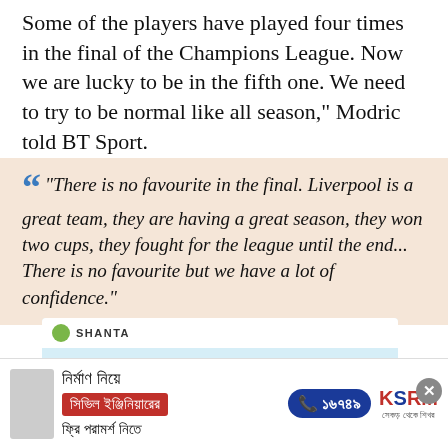Some of the players have played four times in the final of the Champions League. Now we are lucky to be in the fifth one. We need to try to be normal like all season," Modric told BT Sport.
"There is no favourite in the final. Liverpool is a great team, they are having a great season, they won two cups, they fought for the league until the end... There is no favourite but we have a lot of confidence."
[Figure (other): Shanta Holdings advertisement banner with light blue background]
[Figure (other): Bengali language advertisement for civil engineering consultation with KSRM logo, phone number 16749]